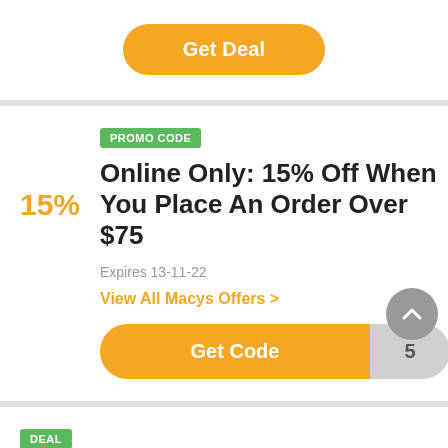[Figure (screenshot): Yellow 'Get Deal' button with rounded pill shape on a white card]
PROMO CODE
Online Only: 15% Off When You Place An Order Over $75
15%
Expires 13-11-22
View All Macys Offers >
[Figure (screenshot): Yellow 'Get Code' button with code reveal tab showing '5']
DEAL
Free Investor Education When You Open A TD Ameritrade